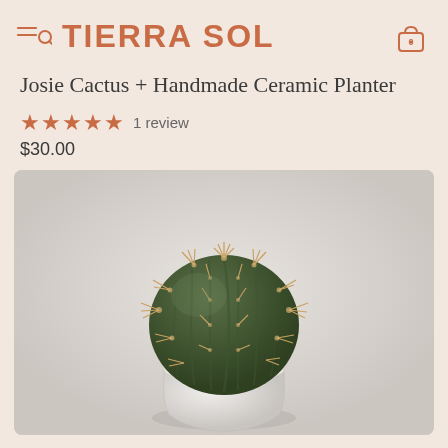TIERRA SOL
Josie Cactus + Handmade Ceramic Planter
★★★★★ 1 review
$30.00
[Figure (photo): A round barrel cactus with golden spines sitting in a round white ceramic planter filled with white pebbles, photographed against a light grey/white background.]